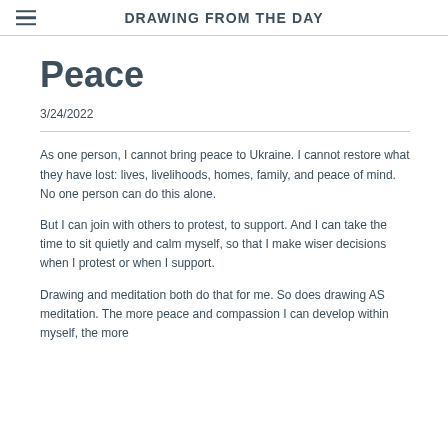DRAWING FROM THE DAY
Peace
3/24/2022
As one person, I cannot bring peace to Ukraine.  I cannot restore what they have lost:  lives, livelihoods, homes, family, and peace of mind.  No one person can do this alone.
But I can join with others to protest, to support.  And I can take the time to sit quietly and calm myself, so that I make wiser decisions when I protest or when I support.
Drawing and meditation both do that for me.  So does drawing AS meditation.  The more peace and compassion I can develop within myself, the more